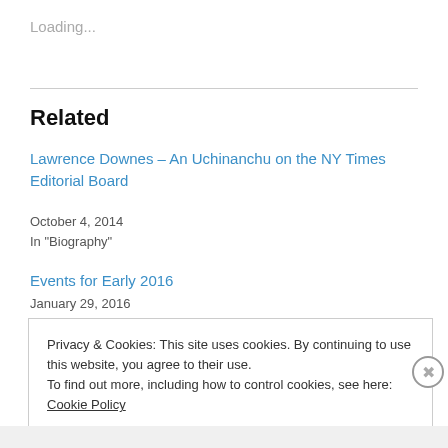Loading...
Related
Lawrence Downes – An Uchinanchu on the NY Times Editorial Board
October 4, 2014
In "Biography"
Events for Early 2016
January 29, 2016
Privacy & Cookies: This site uses cookies. By continuing to use this website, you agree to their use.
To find out more, including how to control cookies, see here: Cookie Policy
Close and accept